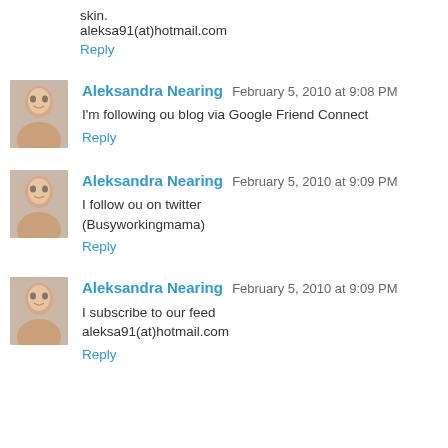skin.
aleksa91(at)hotmail.com
Reply
Aleksandra Nearing  February 5, 2010 at 9:08 PM
I'm following ou blog via Google Friend Connect
Reply
Aleksandra Nearing  February 5, 2010 at 9:09 PM
I follow ou on twitter (Busyworkingmama)
Reply
Aleksandra Nearing  February 5, 2010 at 9:09 PM
I subscribe to our feed aleksa91(at)hotmail.com
Reply